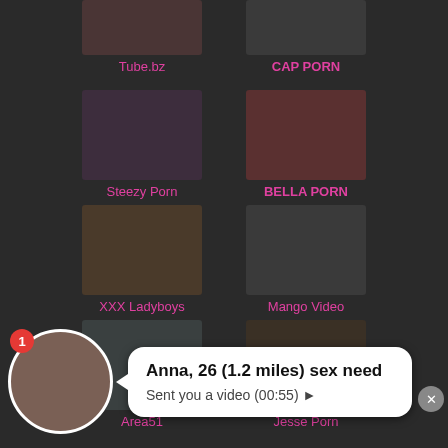[Figure (screenshot): Website thumbnail grid showing adult content site links: Tube.bz, CAP PORN, Steezy Porn, BELLA PORN, XXX Ladyboys, Mango Video, Area51, Jesse Porn]
Tube.bz
CAP PORN
Steezy Porn
BELLA PORN
XXX Ladyboys
Mango Video
Area51
Jesse Porn
[Figure (screenshot): Notification popup: profile picture with badge '1', bubble saying 'Anna, 26 (1.2 miles) sex need' and 'Sent you a video (00:55)']